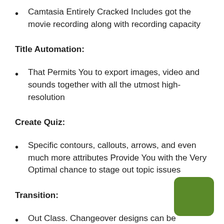Camtasia Entirely Cracked Includes got the movie recording along with recording capacity
Title Automation:
That Permits You to export images, video and sounds together with all the utmost high-resolution
Create Quiz:
Specific contours, callouts, arrows, and even much more attributes Provide You with the Very Optimal chance to stage out topic issues
Transition:
Out Class. Changeover designs can be additional to